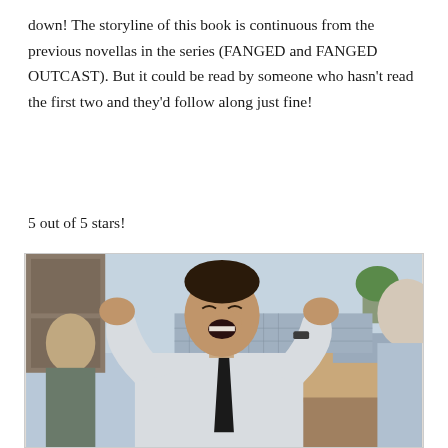down! The storyline of this book is continuous from the previous novellas in the series (FANGED and FANGED OUTCAST). But it could be read by someone who hasn't read the first two and they'd follow along just fine!
5 out of 5 stars!
[Figure (photo): A man in a white dress shirt and black tie laughing enthusiastically with his hands raised, in what appears to be a kitchen setting. Another person is partially visible on the right side.]